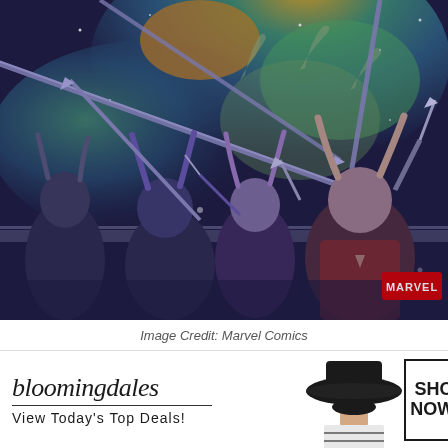[Figure (illustration): Marvel Comics illustration showing armored fantasy/sci-fi warriors with horned helmets raising swords against a cosmic background with green and teal nebula colors. A MARVEL logo appears in the lower right corner.]
Image Credit: Marvel Comics
[Figure (other): Bloomingdale's advertisement banner. Shows 'bloomingdales' logo in serif italic font with tagline 'View Today's Top Deals!', a model wearing a wide-brim black hat, and a 'SHOP NOW >' button. Has a close (x) button in top right.]